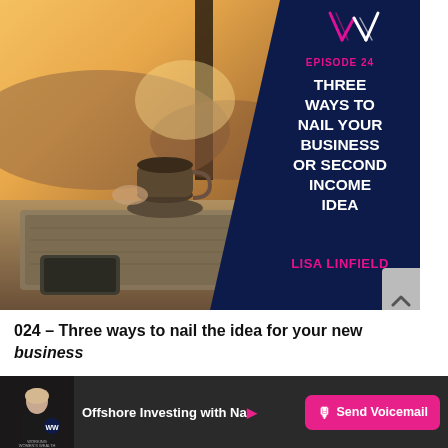[Figure (illustration): Podcast episode cover art for Working Women's Wealth Episode 24. Left side shows a blurred photo of a coffee cup and laptop on a desk with a sunset/sunrise through a window behind. Right side has a dark navy blue diagonal panel with the WW logo at top, pink text reading 'EPISODE 24', white bold text reading 'THREE WAYS TO NAIL YOUR BUSINESS OR SECOND INCOME IDEA', and pink text reading 'LISA LINFIELD'.]
024 – Three ways to nail the idea for your new business
[Figure (illustration): Bottom bar with podcast thumbnail for Working Women's Wealth (showing host in black outfit with WW logo badge), partial text 'Offshore Investing with Na...' and a pink 'Send Voicemail' button with microphone icon.]